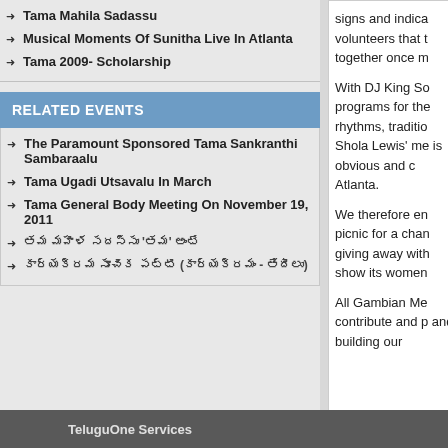Tama Mahila Sadassu
Musical Moments Of Sunitha Live In Atlanta
Tama 2009- Scholarship
RELATED EVENTS
The Paramount Sponsored Tama Sankranthi Sambaraalu
Tama Ugadi Utsavalu In March
Tama General Body Meeting On November 19, 2011
తమ మహిళ సదస్సు 'తమ' అంటే
కార్యక్రమ సూచిక పట్టి (కార్యక్రమం - తేదీలు)
signs and indica volunteers that t together once m
With DJ King So programs for the rhythms, traditio Shola Lewis' me is obvious and c Atlanta.
We therefore en picnic for a chan giving away with show its women
All Gambian Me contribute and p and building our
TeluguOne Services